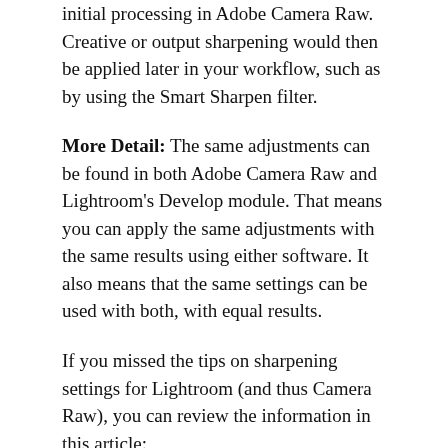initial processing in Adobe Camera Raw. Creative or output sharpening would then be applied later in your workflow, such as by using the Smart Sharpen filter.
More Detail: The same adjustments can be found in both Adobe Camera Raw and Lightroom's Develop module. That means you can apply the same adjustments with the same results using either software. It also means that the same settings can be used with both, with equal results.
If you missed the tips on sharpening settings for Lightroom (and thus Camera Raw), you can review the information in this article:
https://asktimgrey.com/2019/01/14/over-sharpening-risks/
One of the advantages of Photoshop over Lightroom is